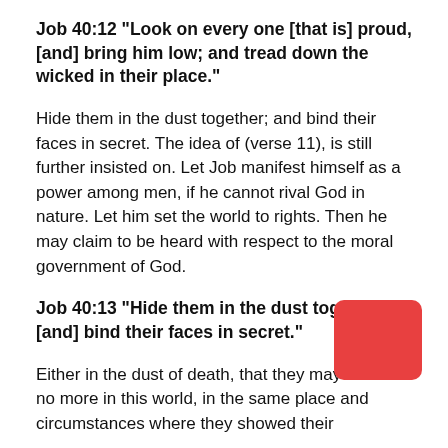Job 40:12 “Look on every one [that is] proud, [and] bring him low; and tread down the wicked in their place.”
Hide them in the dust together; and bind their faces in secret. The idea of (verse 11), is still further insisted on. Let Job manifest himself as a power among men, if he cannot rival God in nature. Let him set the world to rights. Then he may claim to be heard with respect to the moral government of God.
Job 40:13 “Hide them in the dust together; [and] bind their faces in secret.”
Either in the dust of death, that they may be seen no more in this world, in the same place and circumstances where they showed their